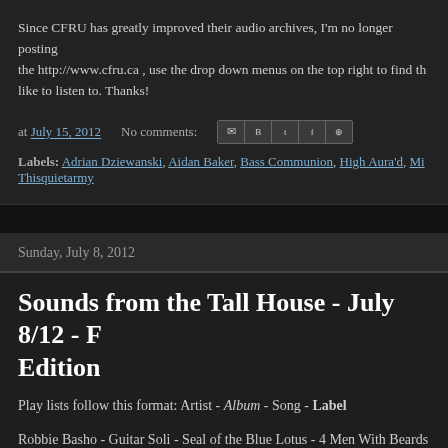Since CFRU has greatly improved their audio archives, I'm no longer posting the http://www.cfru.ca , use the drop down menus on the top right to find the like to listen to. Thanks!
at July 15, 2012   No comments:
Labels: Adrian Dziewanski, Aidan Baker, Bass Communion, High Aura'd, Mi... Thisquietarmy
Sunday, July 8, 2012
Sounds from the Tall House - July 8/12 - F Edition
Play lists follow this format: Artist - Album - Song - Label
Robbie Basho - Guitar Soli - Seal of the Blue Lotus - 4 Men With Beards
Robbie Basho - Guitar Soli - Mountain Man's Farewell - 4 Men With Beards
James Blackshaw - Love is the Plan, the Plan is Death - Love is the Plan, the Important
Suzuki Junzo - Ode to a Blue Ghost - Ode to a Blue Ghost - Utech